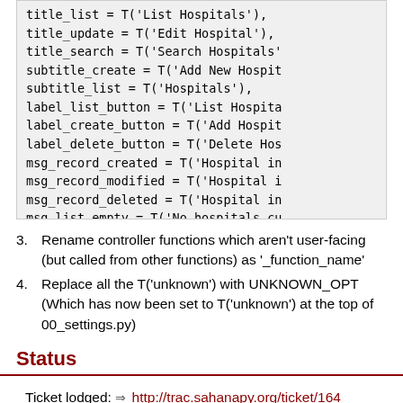[Figure (screenshot): Code block showing Python/web2py configuration assignments: title_list, title_update, title_search, subtitle_create, subtitle_list, label_list_button, label_create_button, label_delete_button, msg_record_created, msg_record_modified, msg_record_deleted, msg_list_empty all assigned using T() translation function.]
3. Rename controller functions which aren't user-facing (but called from other functions) as '_function_name'
4. Replace all the T('unknown') with UNKNOWN_OPT (Which has now been set to T('unknown') at the top of 00_settings.py)
Status
Ticket lodged: ⇒ http://trac.sahanapy.org/ticket/164
Done: